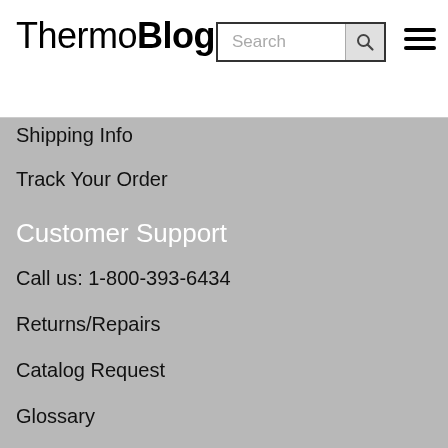ThermoBlog
Shipping Info
Track Your Order
Customer Support
Call us: 1-800-393-6434
Returns/Repairs
Catalog Request
Glossary
Our Company
About Us
Contact Us & Meet Our Team